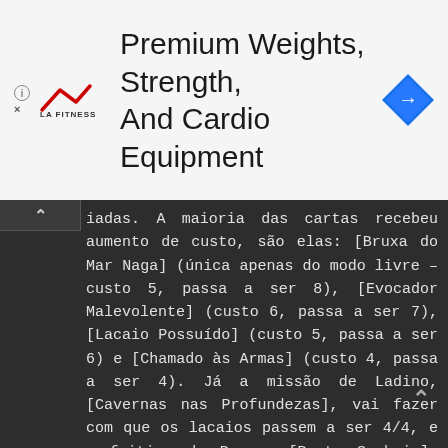[Figure (other): LA Fitness advertisement banner with logo and navigation arrow icon. Text: 'Premium Weights, Strength, And Cardio Equipment']
iadas. A maioria das cartas recebeu aumento de custo, são elas: [Bruxa do Mar Naga] (única apenas do modo livre – custo 5, passa a ser 8), [Evocador Malevolente] (custo 6, passa a ser 7), [Lacaio Possuído] (custo 5, passa a ser 6) e [Chamado às Armas] (custo 4, passa a ser 4). Já a missão de Ladino, [Cavernas nas Profundezas], vai fazer com que os lacaios passem a ser 4/4, e o feitiço do Bruxo, [Pacto Sombrio], vai passar a curar apenas quatro, ao invés de oito.